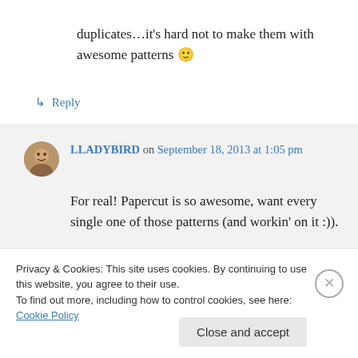duplicates…it's hard not to make them with awesome patterns 🙂
↳ Reply
LLADYBIRD on September 18, 2013 at 1:05 pm
For real! Papercut is so awesome, want every single one of those patterns (and workin' on it :)).
Privacy & Cookies: This site uses cookies. By continuing to use this website, you agree to their use.
To find out more, including how to control cookies, see here: Cookie Policy